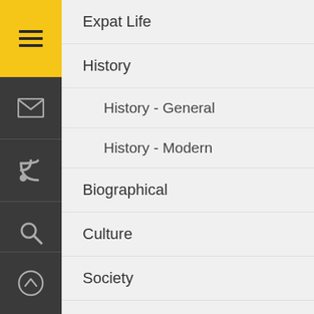Expat Life
History
History - General
History - Modern
Biographical
Culture
Society
Religion
Buddhism
Cham Muslim
Christianity